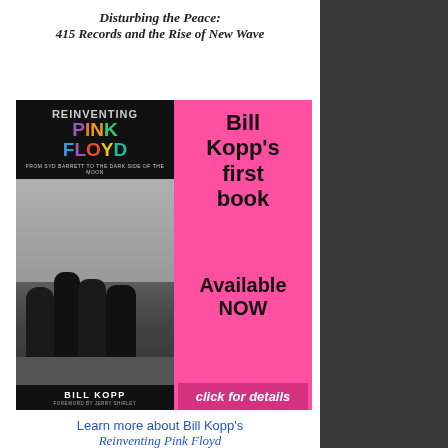Disturbing the Peace:
415 Records and the Rise of New Wave
[Figure (illustration): Advertisement for 'Reinventing Pink Floyd' book by Bill Kopp on a hot pink background. Left side shows book cover with multicolor 'PINK FLOYD' title and band photo. Right side has text: Bill Kopp's first book Available NOW click for details]
Learn more about Bill Kopp's
Reinventing Pink Floyd